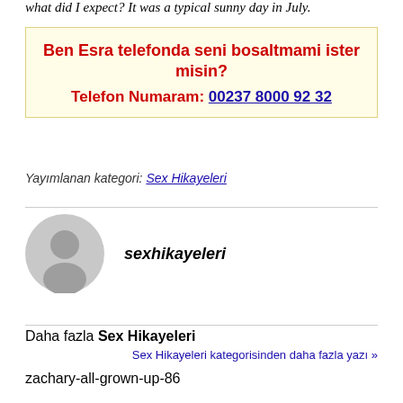what did I expect? It was a typical sunny day in July.
Ben Esra telefonda seni bosaltmami ister misin?
Telefon Numaram: 00237 8000 92 32
Yayımlanan kategori: Sex Hikayeleri
sexhikayeleri
Daha fazla Sex Hikayeleri
Sex Hikayeleri kategorisinden daha fazla yazı »
zachary-all-grown-up-86